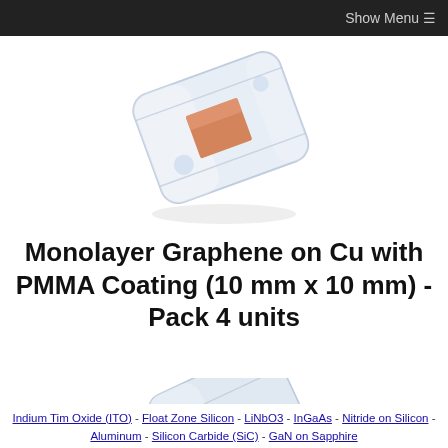Show Menu ☰
[Figure (photo): Product photo of graphene on copper foil with PMMA coating, packaged in a clear sealed pouch, shown at an angle]
Monolayer Graphene on Cu with PMMA Coating (10 mm x 10 mm) - Pack 4 units
[Figure (photo): Partial product photo showing another graphene sample package from below]
Indium Tim Oxide (ITO) - Float Zone Silicon - LiNbO3 - InGaAs - Nitride on Silicon - Aluminum - Silicon Carbide (SiC) - GaN on Sapphire